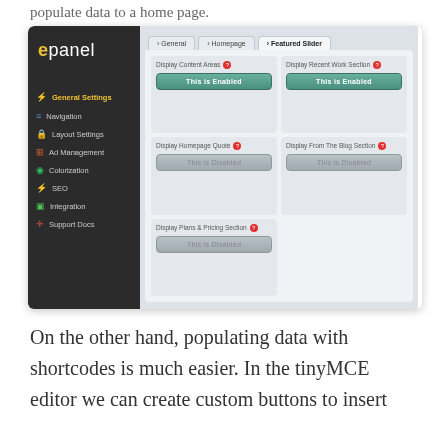populate data to a home page.
[Figure (screenshot): Screenshot of epanel admin interface showing General Settings panel with Homepage tab selected. Sidebar shows: General Settings (active), Navigation, Layout Settings, Ad Management, Colorization, SEO, Integration, Support Docs. Main panel shows cards: Display Content Areas (This is Enabled), Display Recent Work Section (This is Enabled), Display Homepage Quote (This is Disabled), Display From The Blog Section (This is Disabled), Display Plans & Pricing Section (This is Disabled).]
On the other hand, populating data with shortcodes is much easier. In the tinyMCE editor we can create custom buttons to insert